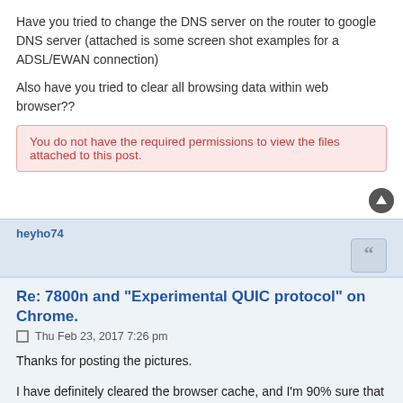Have you tried to change the DNS server on the router to google DNS server (attached is some screen shot examples for a ADSL/EWAN connection)
Also have you tried to clear all browsing data within web browser??
You do not have the required permissions to view the files attached to this post.
heyho74
Re: 7800n and "Experimental QUIC protocol" on Chrome.
Thu Feb 23, 2017 7:26 pm
Thanks for posting the pictures.
I have definitely cleared the browser cache, and I'm 90% sure that the DNS servers were set correctly, although I will try this again at the weekend just in case.
As stated, switching off the QUIC protocol in chrome flags eliminates the problem, but is not a fix.
billion_fan